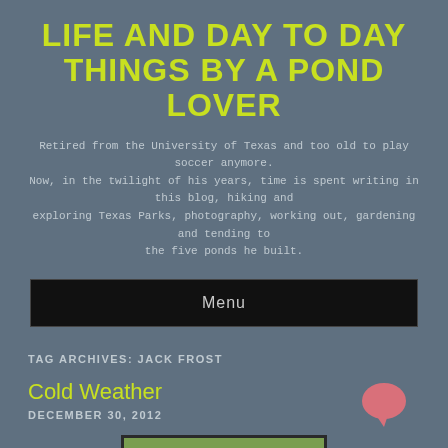LIFE AND DAY TO DAY THINGS BY A POND LOVER
Retired from the University of Texas and too old to play soccer anymore. Now, in the twilight of his years, time is spent writing in this blog, hiking and exploring Texas Parks, photography, working out, gardening and tending to the five ponds he built.
Menu
TAG ARCHIVES: JACK FROST
Cold Weather
DECEMBER 30, 2012
[Figure (photo): Photo of frost-covered or cold-weather garden plants with reddish-brown foliage against green grass background]